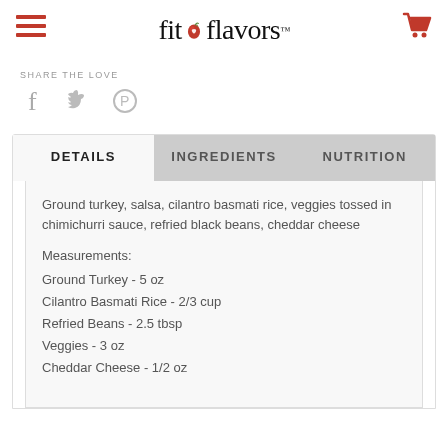[Figure (logo): fit&flavors logo with hamburger menu icon on left and shopping cart icon on right]
SHARE THE LOVE
[Figure (infographic): Social share icons: Facebook, Twitter, Pinterest]
DETAILS | INGREDIENTS | NUTRITION tabs
Ground turkey, salsa, cilantro basmati rice, veggies tossed in chimichurri sauce, refried black beans, cheddar cheese
Measurements:
Ground Turkey - 5 oz
Cilantro Basmati Rice - 2/3 cup
Refried Beans - 2.5 tbsp
Veggies - 3 oz
Cheddar Cheese - 1/2 oz